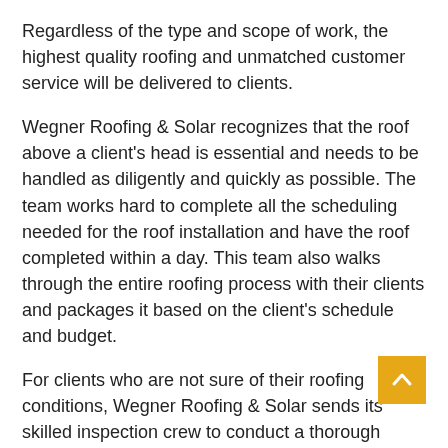Regardless of the type and scope of work, the highest quality roofing and unmatched customer service will be delivered to clients.
Wegner Roofing & Solar recognizes that the roof above a client's head is essential and needs to be handled as diligently and quickly as possible. The team works hard to complete all the scheduling needed for the roof installation and have the roof completed within a day. This team also walks through the entire roofing process with their clients and packages it based on the client's schedule and budget.
For clients who are not sure of their roofing conditions, Wegner Roofing & Solar sends its skilled inspection crew to conduct a thorough assessment of their roofs. This assessment helps to pinpoint any weak or damaged areas on the roofs and any other minor issues that can later develop into serious threats. A report is then given to the clients with the findings and